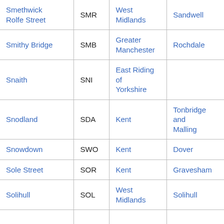| Smethwick Rolfe Street | SMR | West Midlands | Sandwell |
| Smithy Bridge | SMB | Greater Manchester | Rochdale |
| Snaith | SNI | East Riding of Yorkshire |  |
| Snodland | SDA | Kent | Tonbridge and Malling |
| Snowdown | SWO | Kent | Dover |
| Sole Street | SOR | Kent | Gravesham |
| Solihull | SOL | West Midlands | Solihull |
| Somerleyton | SYT | Suffolk | Waveney |